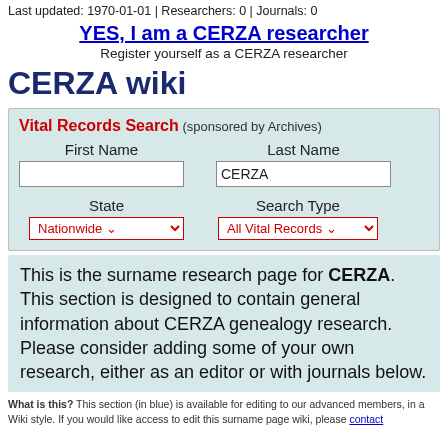Last updated: 1970-01-01 | Researchers: 0 | Journals: 0
YES, I am a CERZA researcher
Register yourself as a CERZA researcher
CERZA wiki
[Figure (screenshot): Vital Records Search form with First Name and Last Name fields (Last Name prefilled with CERZA), State dropdown (Nationwide), and Search Type dropdown (All Vital Records)]
This is the surname research page for CERZA. This section is designed to contain general information about CERZA genealogy research. Please consider adding some of your own research, either as an editor or with journals below.
What is this? This section (in blue) is available for editing to our advanced members, in a Wiki style. If you would like access to edit this surname page wiki, please contact